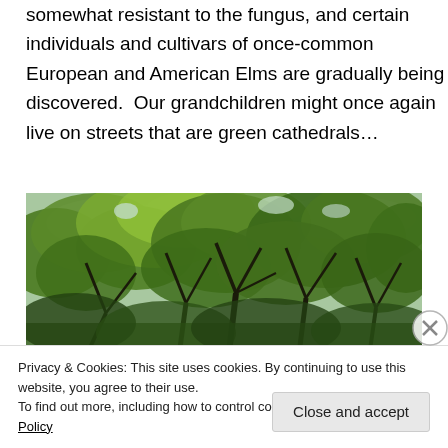mentioned before, most Asian species are at least somewhat resistant to the fungus, and certain individuals and cultivars of once-common European and American Elms are gradually being discovered.  Our grandchildren might once again live on streets that are green cathedrals…
[Figure (photo): Upward view of elm tree canopy showing dense green foliage and dark branching structure against a bright sky]
Privacy & Cookies: This site uses cookies. By continuing to use this website, you agree to their use.
To find out more, including how to control cookies, see here: Cookie Policy